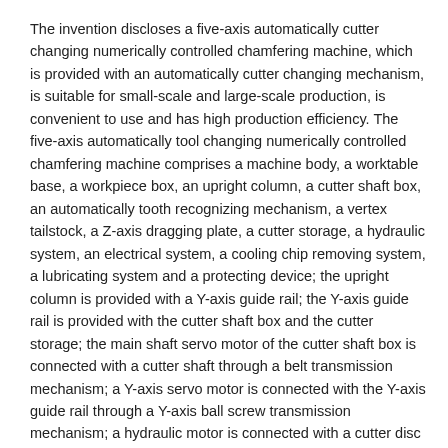The invention discloses a five-axis automatically cutter changing numerically controlled chamfering machine, which is provided with an automatically cutter changing mechanism, is suitable for small-scale and large-scale production, is convenient to use and has high production efficiency. The five-axis automatically tool changing numerically controlled chamfering machine comprises a machine body, a worktable base, a workpiece box, an upright column, a cutter shaft box, an automatically tooth recognizing mechanism, a vertex tailstock, a Z-axis dragging plate, a cutter storage, a hydraulic system, an electrical system, a cooling chip removing system, a lubricating system and a protecting device; the upright column is provided with a Y-axis guide rail; the Y-axis guide rail is provided with the cutter shaft box and the cutter storage; the main shaft servo motor of the cutter shaft box is connected with a cutter shaft through a belt transmission mechanism; a Y-axis servo motor is connected with the Y-axis guide rail through a Y-axis ball screw transmission mechanism; a hydraulic motor is connected with a cutter disc revolving shaft of the cutter storage through a synchronous belt transmission